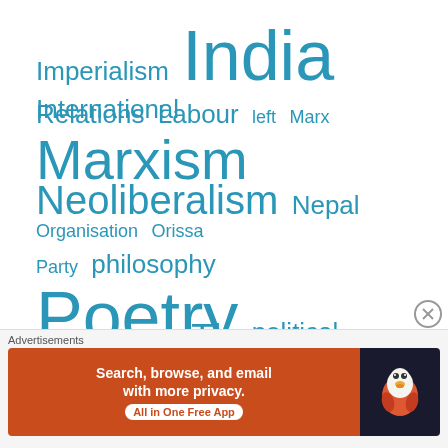[Figure (infographic): Tag/word cloud with political and social science terms in varying font sizes, all in teal/blue color. Words: Imperialism, India (large), International, Relations, Labour, left, Marx, Marxism (large), Neoliberalism, Nepal, Organisation, Orissa, Party, philosophy, Poetry (large), political, economy, Politics (large), revolutionary politics, State, Repression, Theory (medium-large), Translation]
Advertisements
[Figure (screenshot): DuckDuckGo advertisement banner: orange left panel with text 'Search, browse, and email with more privacy. All in One Free App', dark right panel with DuckDuckGo duck logo.]